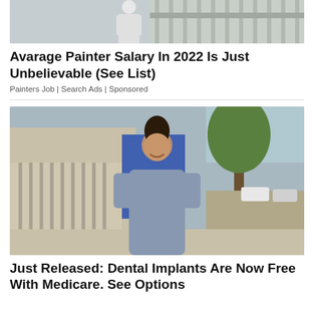[Figure (photo): Photo of a painter in white clothing near railings, partially cropped at top]
Avarage Painter Salary In 2022 Is Just Unbelievable (See List)
Painters Job | Search Ads | Sponsored
[Figure (photo): Photo of a young woman in a grey dress standing on a sidewalk with trees and buildings in the background]
Just Released: Dental Implants Are Now Free With Medicare. See Options